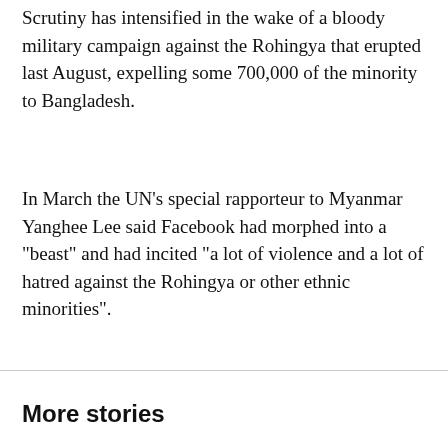Scrutiny has intensified in the wake of a bloody military campaign against the Rohingya that erupted last August, expelling some 700,000 of the minority to Bangladesh.
In March the UN's special rapporteur to Myanmar Yanghee Lee said Facebook had morphed into a “beast” and had incited “a lot of violence and a lot of hatred against the Rohingya or other ethnic minorities”.
More stories